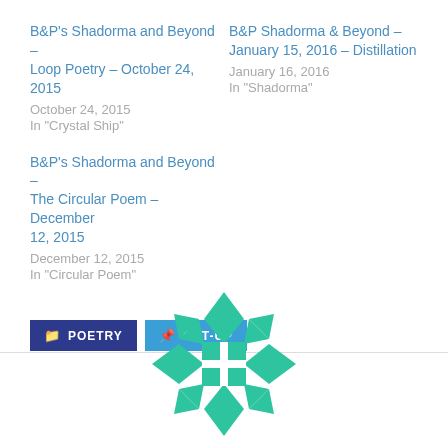B&P's Shadorma and Beyond – Loop Poetry – October 24, 2015
October 24, 2015
In "Crystal Ship"
B&P Shadorma & Beyond – January 15, 2016 – Distillation
January 16, 2016
In "Shadorma"
B&P's Shadorma and Beyond – The Circular Poem – December 12, 2015
December 12, 2015
In "Circular Poem"
POETRY   CUT-UP
[Figure (logo): Green geometric diamond/quilt pattern logo with triangles and squares arranged in a circular pattern]